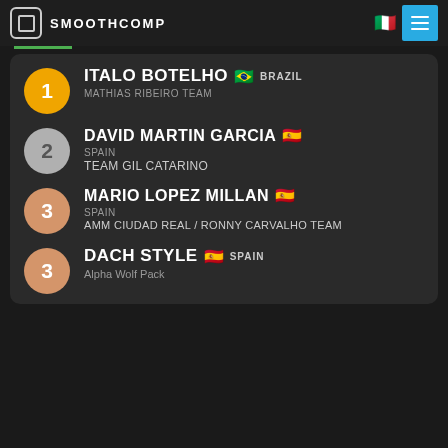SMOOTHCOMP
1 ITALO BOTELHO BRAZIL MATHIAS RIBEIRO TEAM
2 DAVID MARTIN GARCIA SPAIN TEAM GIL CATARINO
3 MARIO LOPEZ MILLAN SPAIN AMM CIUDAD REAL / RONNY CARVALHO TEAM
3 DACH STYLE SPAIN Alpha Wolf Pack